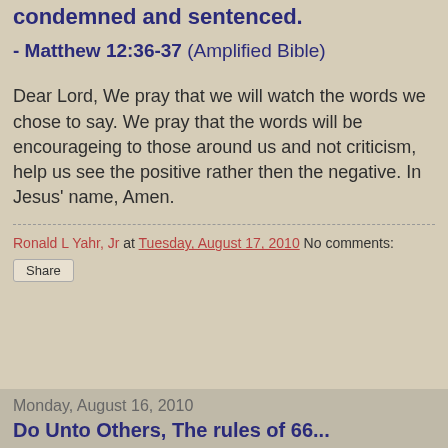condemned and sentenced.
- Matthew 12:36-37 (Amplified Bible)
Dear Lord, We pray that we will watch the words we chose to say. We pray that the words will be encourageing to those around us and not criticism, help us see the positive rather then the negative. In Jesus' name, Amen.
Ronald L Yahr, Jr at Tuesday, August 17, 2010   No comments:
Share
Monday, August 16, 2010